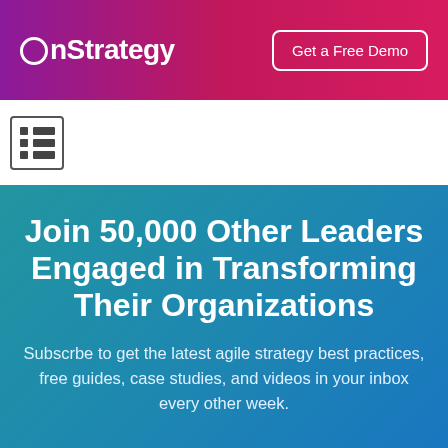OnStrategy | Get a Free Demo
[Figure (other): Menu/navigation icon with grid lines indicating a table or list view]
Join 50,000 Other Leaders Engaged in Transforming Their Organizations
Subscrbe to get the latest agile strategy best practices, free guides, case studies, and videos in your inbox every other week.